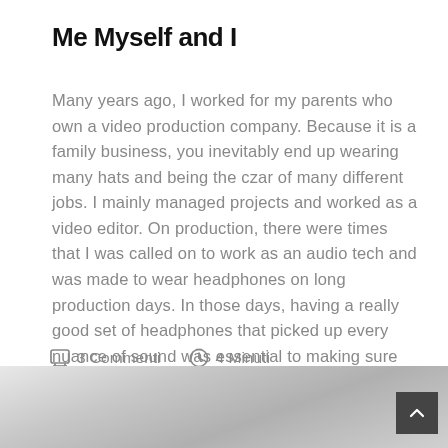Me Myself and I
Many years ago, I worked for my parents who own a video production company. Because it is a family business, you inevitably end up wearing many hats and being the czar of many different jobs. I mainly managed projects and worked as a video editor. On production, there were times that I was called on to work as an audio tech and was made to wear headphones on long production days. In those days, having a really good set of headphones that picked up every nuance of sound was essential to making sure the client got what they needed.
3 Commenti   4 Minuti
[Figure (photo): Partial view of a grey/silver abstract or fabric image at the bottom of the page, with a dark scroll-to-top button in the bottom right corner.]